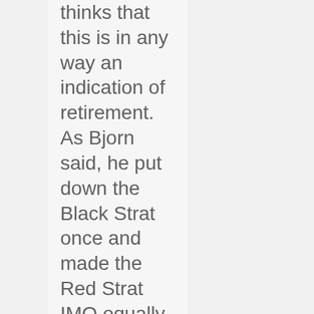thinks that this is in any way an indication of retirement. As Bjorn said, he put down the Black Strat once and made the Red Strat IMO equally as famous and sought after by his fans. As well, when you think about, other than the 2 Strats, David has never been married to any guitar for a long period of time. He's kept them and eventually